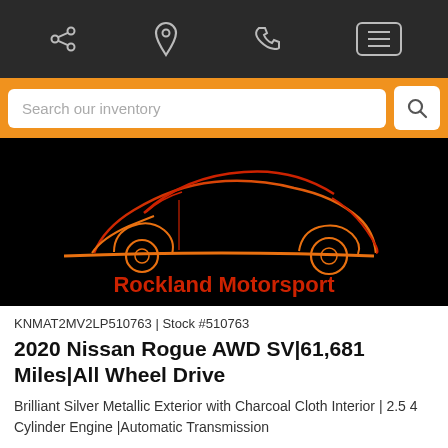Navigation bar with share, location, phone, and menu icons
Search our inventory
[Figure (logo): Rockland Motorsport logo: orange and red sports car silhouette outline on black background with 'Rockland Motorsport' text in red below]
KNMAT2MV2LP510763 | Stock #510763
2020 Nissan Rogue AWD SV|61,681 Miles|All Wheel Drive
Brilliant Silver Metallic Exterior with Charcoal Cloth Interior | 2.5 4 Cylinder Engine |Automatic Transmission
$18,888